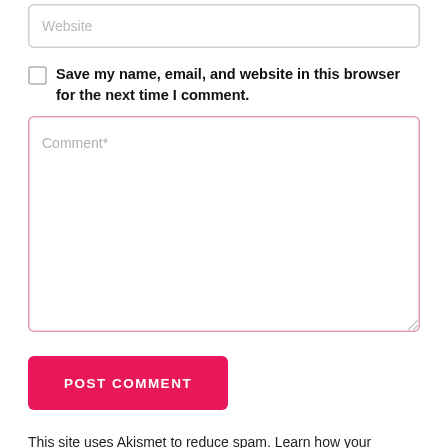[Figure (screenshot): Website input field with placeholder text 'Website', styled with light gray border and rounded corners]
[Figure (screenshot): Checkbox (unchecked) with bold label text: Save my name, email, and website in this browser for the next time I comment.]
[Figure (screenshot): Comment textarea with placeholder text 'Comment*', styled with pink/rose border and resize handle]
[Figure (screenshot): POST COMMENT button in pink/red color with white uppercase text]
This site uses Akismet to reduce spam. Learn how your